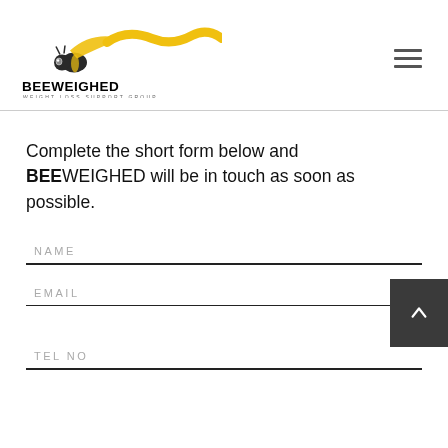[Figure (logo): BeeWeighed bee logo with yellow honeycomb bee illustration and wavy yellow ribbon]
Complete the short form below and BEEWEIGHED will be in touch as soon as possible.
NAME
EMAIL
TEL NO